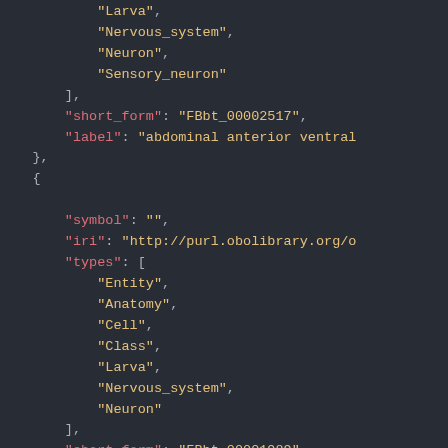JSON code snippet showing biological ontology data with types array containing Larva, Nervous_system, Neuron, Sensory_neuron, short_form FBbt_00002517, label abdominal anterior ventral, followed by another object with symbol empty, iri http://purl.obolibrary.org/o, types array with Entity, Anatomy, Cell, Class, Larva, Nervous_system, Neuron, and short_form FBbt_00001989